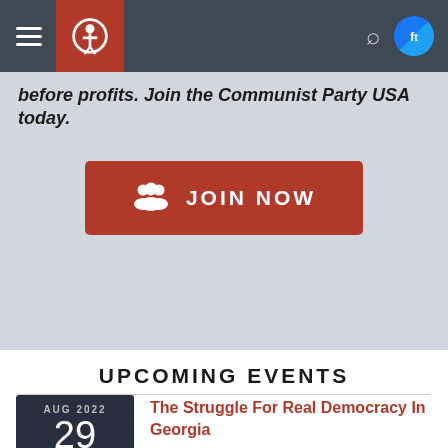Navigation bar with hamburger menu, logo, search icon, and social icons
before profits. Join the Communist Party USA today.
[Figure (other): JOIN NOW button with group/people icon in dark red]
UPCOMING EVENTS
AUG 2022
29
○ 7:00 PM
The Struggle For Real Democracy In Georgia
Online/Phone Only United States